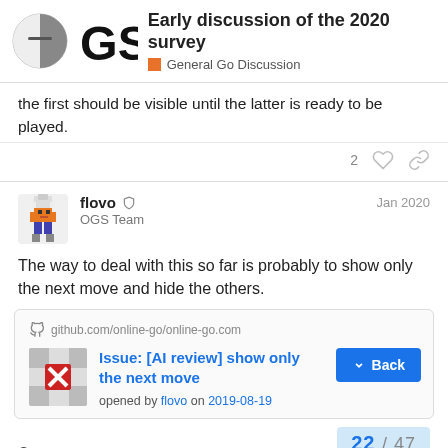Early discussion of the 2020 survey – General Go Discussion
the first should be visible until the latter is ready to be played.
flovo  OGS Team  Jan 2020
The way to deal with this so far is probably to show only the next move and hide the others.
github.com/online-go/online-go.com  Issue: [AI review] show only the next move  opened by flovo on 2019-08-19  Summary
22 / 47